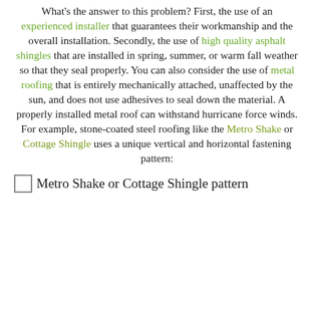What's the answer to this problem? First, the use of an experienced installer that guarantees their workmanship and the overall installation. Secondly, the use of high quality asphalt shingles that are installed in spring, summer, or warm fall weather so that they seal properly. You can also consider the use of metal roofing that is entirely mechanically attached, unaffected by the sun, and does not use adhesives to seal down the material. A properly installed metal roof can withstand hurricane force winds. For example, stone-coated steel roofing like the Metro Shake or Cottage Shingle uses a unique vertical and horizontal fastening pattern:
[Figure (photo): Placeholder image for Metro Shake or Cottage Shingle pattern]